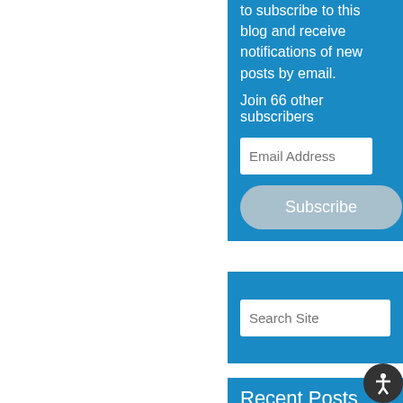to subscribe to this blog and receive notifications of new posts by email.
Join 66 other subscribers
Email Address
Subscribe
Search Site
Recent Posts